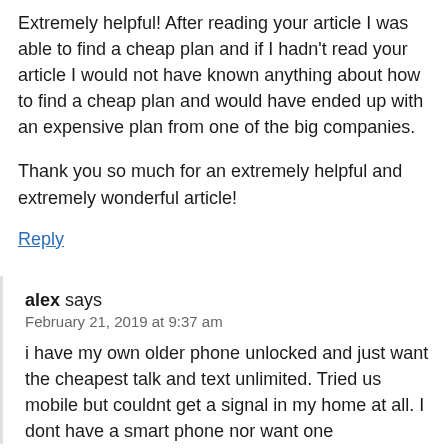Extremely helpful! After reading your article I was able to find a cheap plan and if I hadn't read your article I would not have known anything about how to find a cheap plan and would have ended up with an expensive plan from one of the big companies.

Thank you so much for an extremely helpful and extremely wonderful article!
Reply
alex says
February 21, 2019 at 9:37 am
i have my own older phone unlocked and just want the cheapest talk and text unlimited. Tried us mobile but couldnt get a signal in my home at all. I dont have a smart phone nor want one